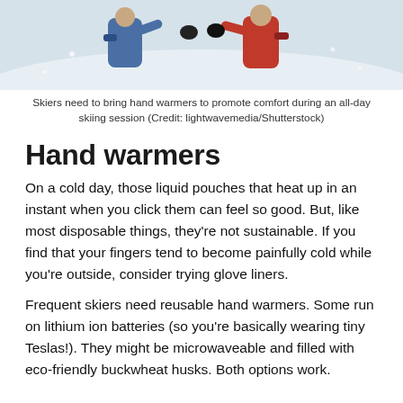[Figure (photo): Two skiers in winter jackets bumping fists or exchanging something in a snowy outdoor setting. One wears a blue jacket, the other red.]
Skiers need to bring hand warmers to promote comfort during an all-day skiing session (Credit: lightwavemedia/Shutterstock)
Hand warmers
On a cold day, those liquid pouches that heat up in an instant when you click them can feel so good. But, like most disposable things, they’re not sustainable. If you find that your fingers tend to become painfully cold while you’re outside, consider trying glove liners.
Frequent skiers need reusable hand warmers. Some run on lithium ion batteries (so you’re basically wearing tiny Teslas!). They might be microwaveable and filled with eco-friendly buckwheat husks. Both options work.